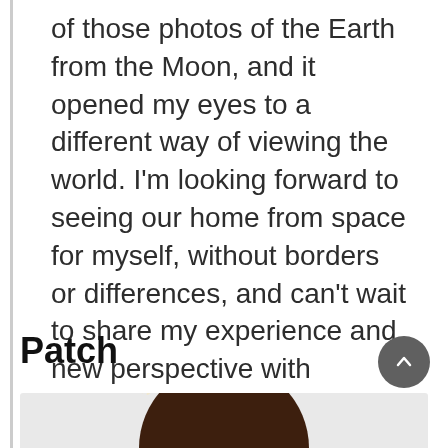of those photos of the Earth from the Moon, and it opened my eyes to a different way of viewing the world. I'm looking forward to seeing our home from space for myself, without borders or differences, and can't wait to share my experience and new perspective with others."
— David Saint-Jacques
Patch
[Figure (illustration): Partial view of a circular mission patch with dark brown/chocolate background showing the text 'SAINT-JAC' (partial) in cream/beige letters along the top arc, cropped at the bottom of the page.]